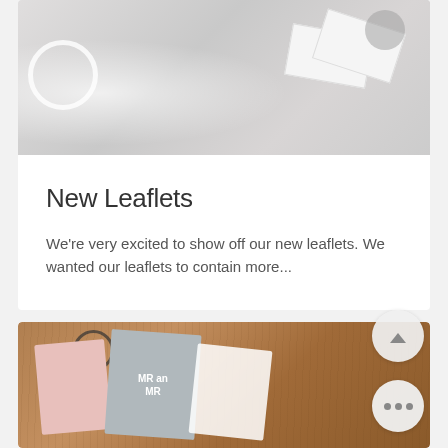[Figure (photo): Photo of white cards/leaflets with a rope or ribbon on a grey/white surface, partially visible at top of page]
New Leaflets
We're very excited to show off our new leaflets. We wanted our leaflets to contain more...
[Figure (photo): Photo of wedding stationery cards (pink, grey, white) on a wooden table surface, partially visible at bottom of page]